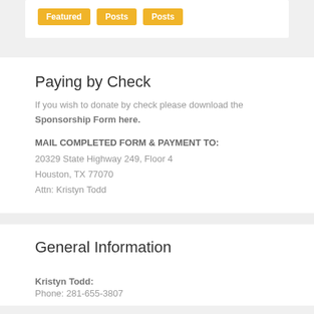[Figure (other): Navigation buttons: Featured, Posts, Posts as amber/yellow pill badges]
Paying by Check
If you wish to donate by check please download the Sponsorship Form here.
MAIL COMPLETED FORM & PAYMENT TO:
20329 State Highway 249, Floor 4
Houston, TX 77070
Attn: Kristyn Todd
General Information
Kristyn Todd:
Phone: 281-655-3807